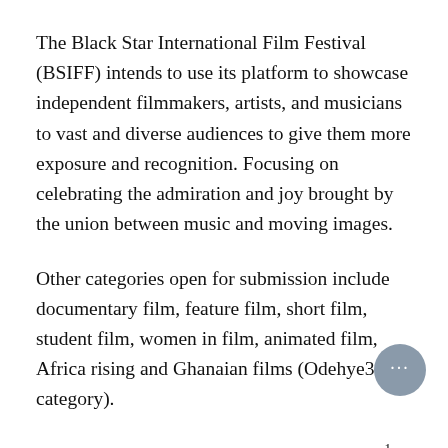The Black Star International Film Festival (BSIFF) intends to use its platform to showcase independent filmmakers, artists, and musicians to vast and diverse audiences to give them more exposure and recognition. Focusing on celebrating the admiration and joy brought by the union between music and moving images.
Other categories open for submission include documentary film, feature film, short film, student film, women in film, animated film, Africa rising and Ghanaian films (Odehye3 category).
Please note that submission ends on march 31